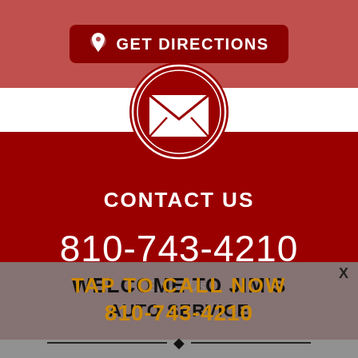[Figure (infographic): Red banner with GET DIRECTIONS button featuring map pin icon]
[Figure (infographic): Dark red contact section with circular email icon, CONTACT US heading, phone number 810-743-4210, and Email Us! link]
[Figure (infographic): Gray overlay banner with TAP TO CALL NOW text and 810-743-4210 overlaid on WELCOME TO JIM'S AUTO SERVICE website content, with X close button and diamond divider]